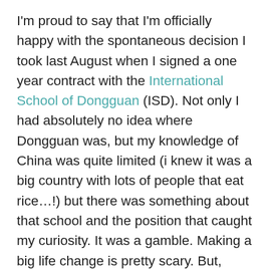I'm proud to say that I'm officially happy with the spontaneous decision I took last August when I signed a one year contract with the International School of Dongguan (ISD). Not only I had absolutely no idea where Dongguan was, but my knowledge of China was quite limited (i knew it was a big country with lots of people that eat rice…!) but there was something about that school and the position that caught my curiosity. It was a gamble. Making a big life change is pretty scary. But, what's even scarier? Regret. Thus, I took a deep breath, signed my life away, packed my bags and left home for this unknown world of